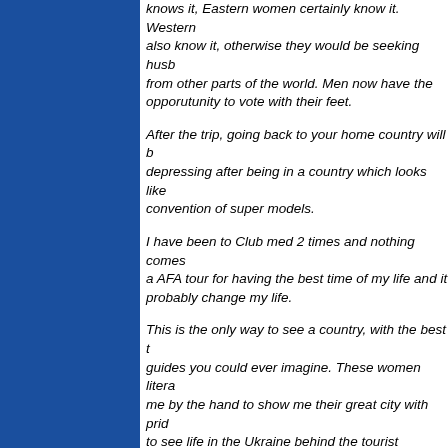knows it, Eastern women certainly know it. Western also know it, otherwise they would be seeking husbands from other parts of the world. Men now have the opporutunity to vote with their feet.
After the trip, going back to your home country will be depressing after being in a country which looks like a convention of super models.
I have been to Club med 2 times and nothing comes close to a AFA tour for having the best time of my life and it will probably change my life.
This is the only way to see a country, with the best tour guides you could ever imagine. These women literally took me by the hand to show me their great city with pride. I got to see life in the Ukraine behind the tourist attractions. Things most people do not get to see I got to experience first hand.
These women exude warmth, most are genuine but reserved. The best thing about them is they like nice men.
Most of these women sincerely want a man whom will love them and love his family. This lucky man will most likely recieve much more then he gives.
The type of wife these women become is directly related to...